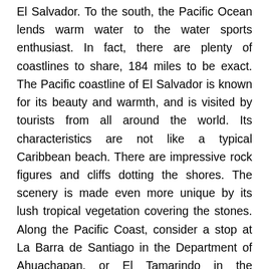El Salvador. To the south, the Pacific Ocean lends warm water to the water sports enthusiast. In fact, there are plenty of coastlines to share, 184 miles to be exact. The Pacific coastline of El Salvador is known for its beauty and warmth, and is visited by tourists from all around the world. Its characteristics are not like a typical Caribbean beach. There are impressive rock figures and cliffs dotting the shores. The scenery is made even more unique by its lush tropical vegetation covering the stones. Along the Pacific Coast, consider a stop at La Barra de Santiago in the Department of Ahuachapan, or El Tamarindo in the Department of La Union. If you are searching for beaches that accommodate visitors, Metalio, Playa Dorada, and Los Cobanos are fantastic choices. They maintain upscale private beach clubs and gorgeous recreational centers. Water sports central is at San Diego and Costa del Sol, only 40 minutes from San Salvador. If the Coast beckons, visit the reputable Gulf of Fonseca the